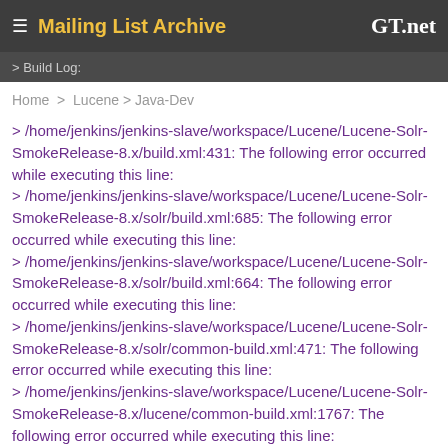≡ Mailing List Archive  GT.net
> Build Log:
Home > Lucene > Java-Dev
> /home/jenkins/jenkins-slave/workspace/Lucene/Lucene-Solr-SmokeRelease-8.x/build.xml:431: The following error occurred while executing this line:
> /home/jenkins/jenkins-slave/workspace/Lucene/Lucene-Solr-SmokeRelease-8.x/solr/build.xml:685: The following error occurred while executing this line:
> /home/jenkins/jenkins-slave/workspace/Lucene/Lucene-Solr-SmokeRelease-8.x/solr/build.xml:664: The following error occurred while executing this line:
> /home/jenkins/jenkins-slave/workspace/Lucene/Lucene-Solr-SmokeRelease-8.x/solr/common-build.xml:471: The following error occurred while executing this line:
> /home/jenkins/jenkins-slave/workspace/Lucene/Lucene-Solr-SmokeRelease-8.x/lucene/common-build.xml:1767: The following error occurred while executing this line:
> /home/jenkins/jenkins-slave/workspace/Lucene/Lucene-Solr-SmokeRelease-8.x/lucene/common-build.xml:682: Unable to initialize POM pom.xml: Could not find the model file